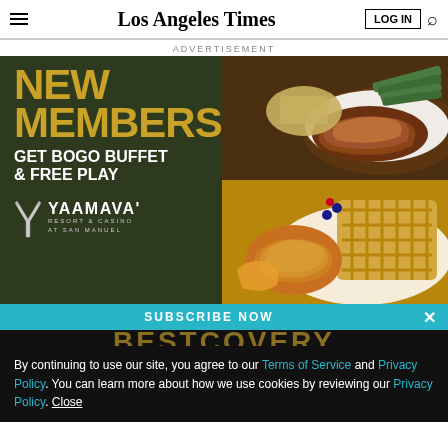Los Angeles Times
ADVERTISEMENT
[Figure (photo): Yaamava Resort & Casino advertisement banner. Dark green background with gold text reading 'NEW MEMBERS! GET BOGO BUFFET & FREE PLAY'. Yaamava Resort & Casino At San Manuel logo. Right side shows food photos: steak with rice and green beans on top, fried chicken with waffles on bottom.]
SUBSCRIBE NOW
By continuing to use our site, you agree to our Terms of Service and Privacy Policy. You can learn more about how we use cookies by reviewing our Privacy Policy. Close